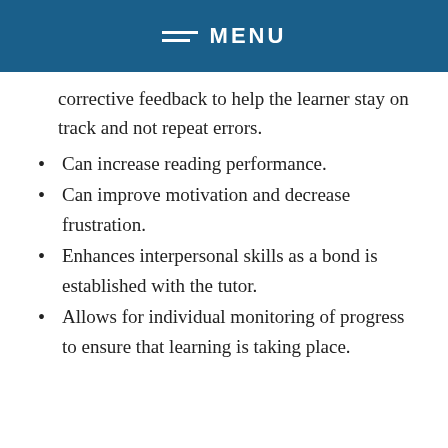MENU
corrective feedback to help the learner stay on track and not repeat errors.
Can increase reading performance.
Can improve motivation and decrease frustration.
Enhances interpersonal skills as a bond is established with the tutor.
Allows for individual monitoring of progress to ensure that learning is taking place.